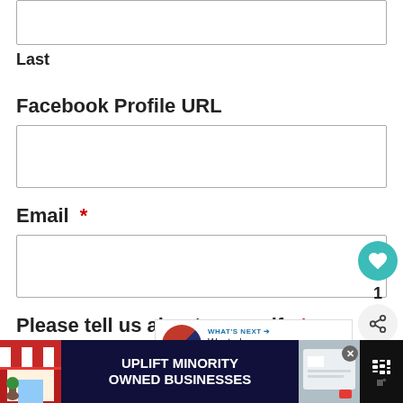[Figure (other): Top input box (partially visible, clipped at top)]
Last
Facebook Profile URL
[Figure (other): Facebook Profile URL input text field]
Email *
[Figure (other): Email input text field with heart/love button (teal circle, count 1) and share button overlaid]
Please tell us about yourself. *
[Figure (other): Tell us about yourself textarea (partially visible)]
[Figure (other): What's Next promo panel: 'Wanted: Writers and...']
[Figure (other): Ad banner: UPLIFT MINORITY OWNED BUSINESSES]